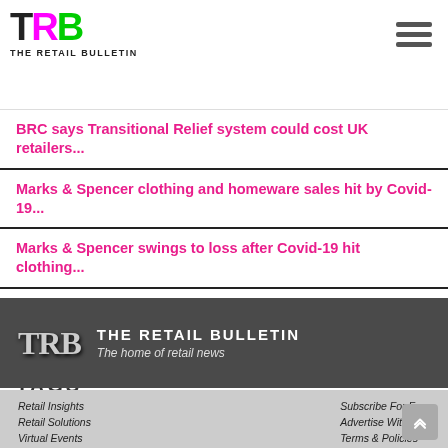TRB THE RETAIL BULLETIN
BRC says Transitional Relief system could cost UK retailers...
Marks & Spencer clothing and homeware sales hit by Covid-19...
Marks & Spencer swings to loss after Covid-19 hit clothing...
Show more related articles >
TAGS
[Figure (logo): TRB The Retail Bulletin white logo on dark grey background with tagline 'The home of retail news']
Retail Insights | Retail Solutions | Virtual Events | About us | Subscribe For Free | Advertise With Us | Terms & Policies | Privacy Policy